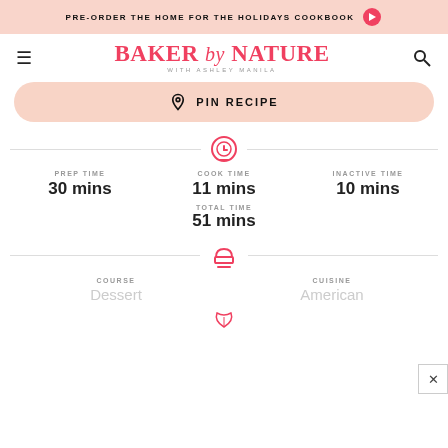PRE-ORDER THE HOME FOR THE HOLIDAYS COOKBOOK →
[Figure (logo): Baker by Nature with Ashley Manila logo - pink serif text]
PIN RECIPE
PREP TIME 30 mins
COOK TIME 11 mins
INACTIVE TIME 10 mins
TOTAL TIME 51 mins
COURSE Dessert
CUISINE American